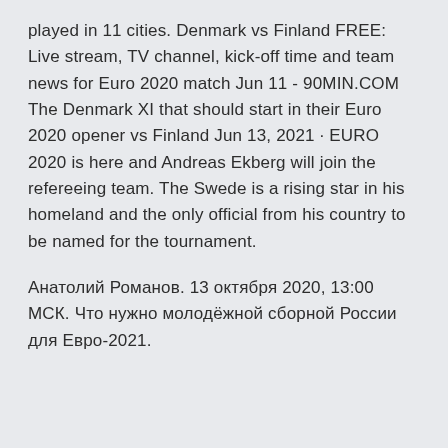played in 11 cities. Denmark vs Finland FREE: Live stream, TV channel, kick-off time and team news for Euro 2020 match Jun 11 - 90MIN.COM The Denmark XI that should start in their Euro 2020 opener vs Finland Jun 13, 2021 · EURO 2020 is here and Andreas Ekberg will join the refereeing team. The Swede is a rising star in his homeland and the only official from his country to be named for the tournament.
Анатолий Романов. 13 октября 2020, 13:00 МСК. Что нужно молодёжной сборной России для Евро-2021.